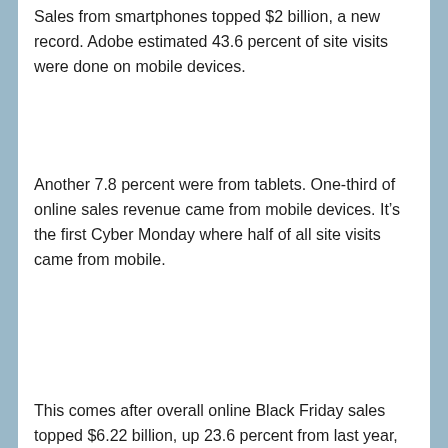Sales from smartphones topped $2 billion, a new record. Adobe estimated 43.6 percent of site visits were done on mobile devices.
Another 7.8 percent were from tablets. One-third of online sales revenue came from mobile devices. It's the first Cyber Monday where half of all site visits came from mobile.
This comes after overall online Black Friday sales topped $6.22 billion, up 23.6 percent from last year, Adobe Analytics reported.
FILED UNDER: COMMUNITY, IN THIS ISSUE, NEWS, PHOTO GALLERY
[Figure (photo): Partial photograph visible at the bottom of the page, appears to be an outdoor scene with blue tones.]